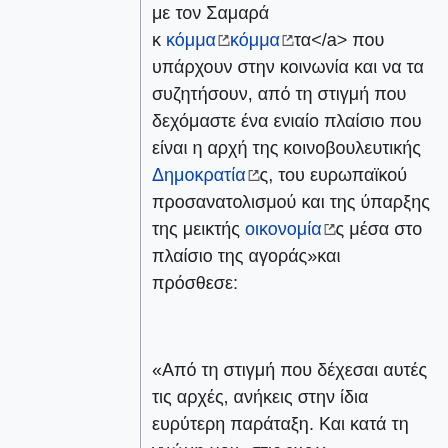με τον Σαμαρά κόμμα κόμμα τα που υπάρχουν στην κοινωνία και να τα συζητήσουν, από τη στιγμή που δεχόμαστε ένα ενιαίο πλαίσιο που είναι η αρχή της κοινοβουλευτικής Δημοκρατίας, του ευρωπαϊκού προσανατολισμού και της ύπαρξης της μεικτής οικονομίας μέσα στο πλαίσιο της αγοράς»και πρόσθεσε:
«Από τη στιγμή που δέχεσαι αυτές τις αρχές, ανήκεις στην ίδια ευρύτερη παράταξη. Και κατά τη γνώμη μου, στις ευρω [http://www.ypes.gr/el/Elections/NationalElections/] εθνικές εκλογές εκλογές για να δώσουν βουλευτές, θα πρέπει αυτές οι δυνάμεις να κατέβουν μαζί. Δεν έχω